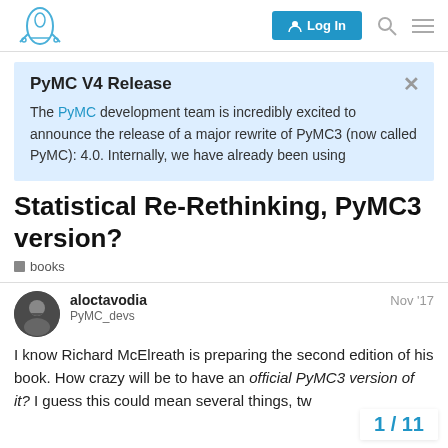Log In
PyMC V4 Release
The PyMC development team is incredibly excited to announce the release of a major rewrite of PyMC3 (now called PyMC): 4.0. Internally, we have already been using
Statistical Re-Rethinking, PyMC3 version?
books
aloctavodia  PyMC_devs  Nov '17
I know Richard McElreath is preparing the second edition of his book. How crazy will be to have an official PyMC3 version of it? I guess this could mean several things, tw
1 / 11